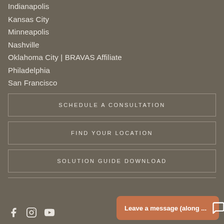Indianapolis
Kansas City
Minneapolis
Nashville
Oklahoma City | BRAVAS Affiliate
Philadelphia
San Francisco
SCHEDULE A CONSULTATION
FIND YOUR LOCATION
SOLUTION GUIDE DOWNLOAD
Leave a message (along ...